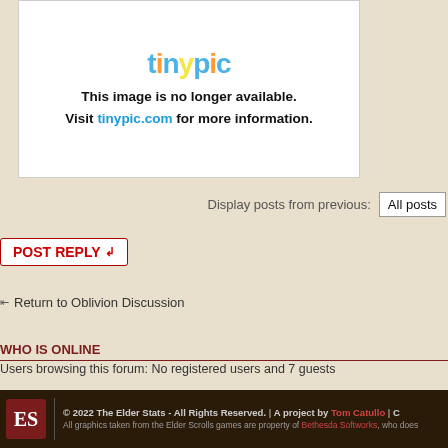[Figure (screenshot): Tinypic broken image placeholder showing 'This image is no longer available. Visit tinypic.com for more information.']
Display posts from previous: All posts
POSTREPLY
Return to Oblivion Discussion
WHO IS ONLINE
Users browsing this forum: No registered users and 7 guests
Forum Index
Proud to be Powered by
© 2022 The Elder Stats - All Rights Reserved. | A project by Tom Catullo | All graphics taken from the Elder Scrolls games are property of Bethesda Softworks, who does